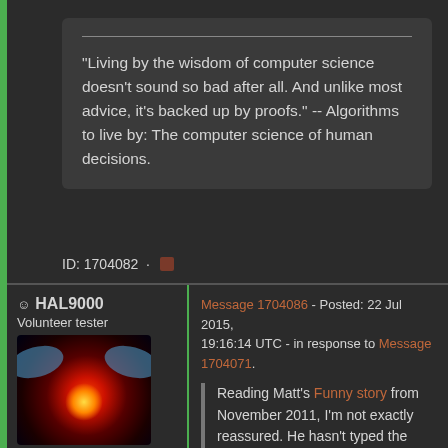"Living by the wisdom of computer science doesn't sound so bad after all. And unlike most advice, it's backed up by proofs." -- Algorithms to live by: The computer science of human decisions.
ID: 1704082 ·
HAL9000
Volunteer tester
Message 1704086 - Posted: 22 Jul 2015, 19:16:14 UTC - in response to Message 1704071.
[Figure (photo): HAL9000 avatar image showing a red glowing eye with blue reflections]
Send message
Joined: 11 Sep 99
Reading Matt's Funny story from November 2011, I'm not exactly reassured. He hasn't typed the figures '6' and '4' in that order since then, so they